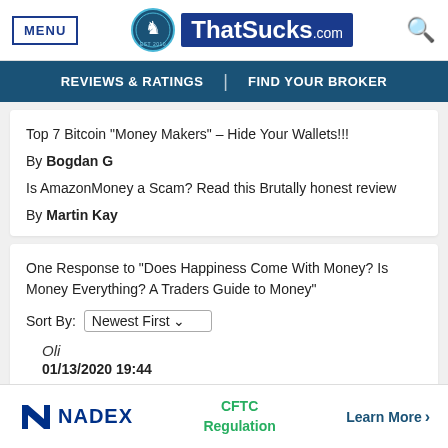MENU | ThatSucks.com | [search icon]
REVIEWS & RATINGS | FIND YOUR BROKER
Top 7 Bitcoin "Money Makers" – Hide Your Wallets!!!
By Bogdan G
Is AmazonMoney a Scam? Read this Brutally honest review
By Martin Kay
One Response to "Does Happiness Come With Money? Is Money Everything? A Traders Guide to Money"
Sort By: Newest First
Oli
01/13/2020 19:44
Interesting
That's a good question!
[Figure (logo): NADEX logo with N icon and text NADEX, CFTC Regulation label in green, and Learn More link]